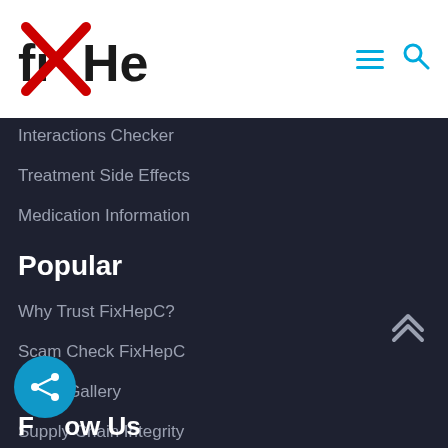FixHepC
Interactions Checker
Treatment Side Effects
Medication Information
Popular
Why Trust FixHepC?
Scam Check FixHepC
Photo Gallery
Supply Chain Integrity
Order Now
Order Tracking
Delivery Guarantee
Follow Us